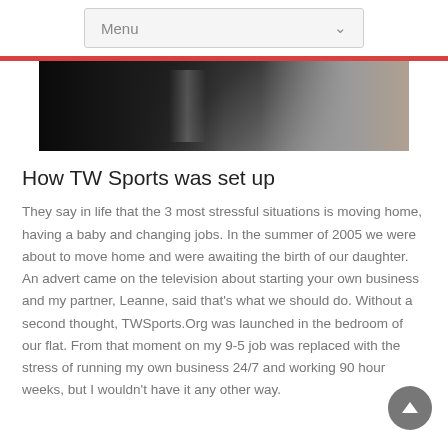Menu
[Figure (photo): Black and white photo of a person, partially visible, dark tones]
How TW Sports was set up
They say in life that the 3 most stressful situations is moving home, having a baby and changing jobs. In the summer of 2005 we were about to move home and were awaiting the birth of our daughter. An advert came on the television about starting your own business and my partner, Leanne, said that's what we should do. Without a second thought, TWSports.Org was launched in the bedroom of our flat. From that moment on my 9-5 job was replaced with the stress of running my own business 24/7 and working 90 hour weeks, but I wouldn't have it any other way.